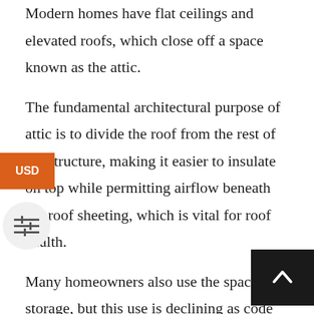Modern homes have flat ceilings and elevated roofs, which close off a space known as the attic.
The fundamental architectural purpose of attic is to divide the roof from the rest of the structure, making it easier to insulate on top while permitting airflow beneath the roof sheeting, which is vital for roof health.
Many homeowners also use the space for storage, but this use is declining as code standards for attic insulation strength have increased (it's difficult to store items in an